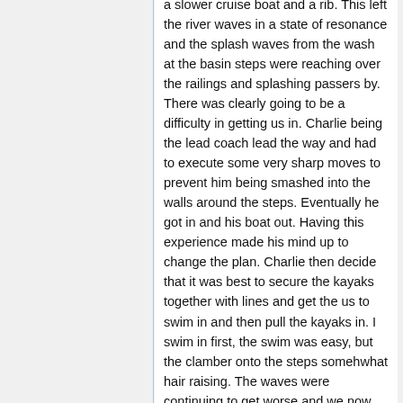a slower cruise boat and a rib. This left the river waves in a state of resonance and the splash waves from the wash at the basin steps were reaching over the railings and splashing passers by. There was clearly going to be a difficulty in getting us in. Charlie being the lead coach lead the way and had to execute some very sharp moves to prevent him being smashed into the walls around the steps. Eventually he got in and his boat out. Having this experience made his mind up to change the plan. Charlie then decide that it was best to secure the kayaks together with lines and get the us to swim in and then pull the kayaks in. I swim in first, the swim was easy, but the clamber onto the steps somehwhat hair raising. The waves were continuing to get worse and we now had a small